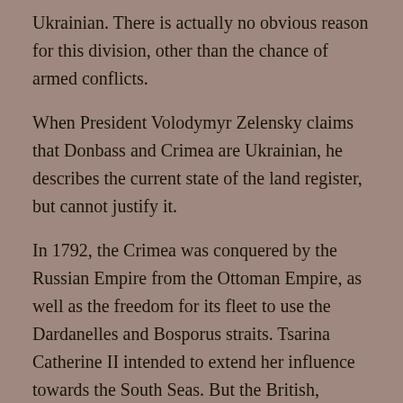Ukrainian. There is actually no obvious reason for this division, other than the chance of armed conflicts.
When President Volodymyr Zelensky claims that Donbass and Crimea are Ukrainian, he describes the current state of the land register, but cannot justify it.
In 1792, the Crimea was conquered by the Russian Empire from the Ottoman Empire, as well as the freedom for its fleet to use the Dardanelles and Bosporus straits. Tsarina Catherine II intended to extend her influence towards the South Seas. But the British, worried that the Russians would enter the Mediterranean and compete with their naval hegemony, organized a coalition with France and the Ottoman Empire. They succeeded in defeating the Russian army, but not in